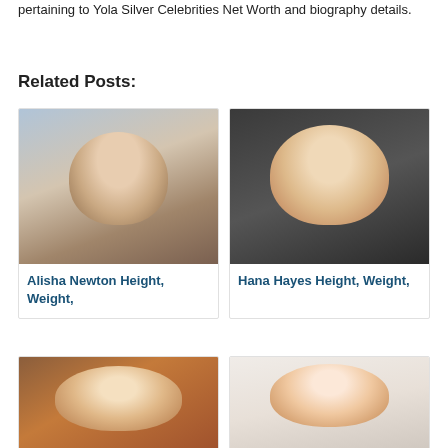pertaining to Yola Silver Celebrities Net Worth and biography details.
Related Posts:
[Figure (photo): Photo of Alisha Newton, a young woman with long brown wavy hair]
Alisha Newton Height, Weight,
[Figure (photo): Photo of Hana Hayes, a young blonde woman]
Hana Hayes Height, Weight,
[Figure (photo): Photo of a smiling young woman with short brown hair in front of a brick wall]
[Figure (photo): Photo of a young girl with long dark hair]